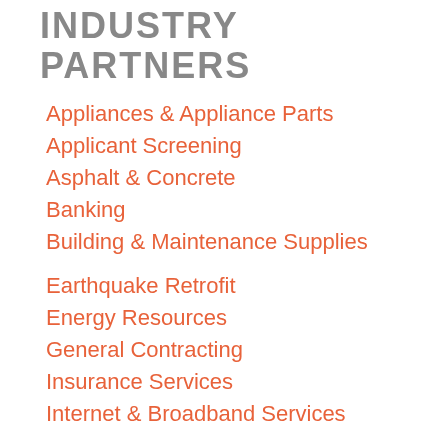INDUSTRY PARTNERS
Appliances & Appliance Parts
Applicant Screening
Asphalt & Concrete
Banking
Building & Maintenance Supplies
Earthquake Retrofit
Energy Resources
General Contracting
Insurance Services
Internet & Broadband Services